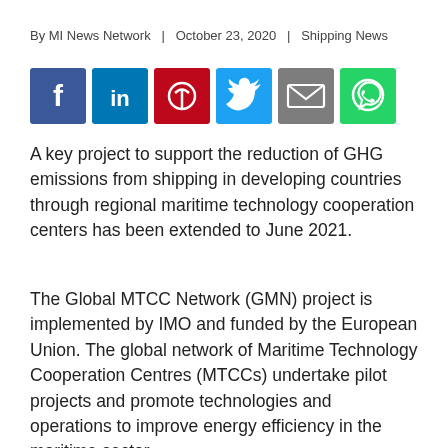By MI News Network  |  October 23, 2020  |  Shipping News
[Figure (infographic): Row of 6 social media sharing icons: Facebook (blue), LinkedIn (dark blue), Pinterest (red), Twitter (light blue), Email (grey), WhatsApp (green)]
A key project to support the reduction of GHG emissions from shipping in developing countries through regional maritime technology cooperation centers has been extended to June 2021.
The Global MTCC Network (GMN) project is implemented by IMO and funded by the European Union. The global network of Maritime Technology Cooperation Centres (MTCCs) undertake pilot projects and promote technologies and operations to improve energy efficiency in the maritime sector.